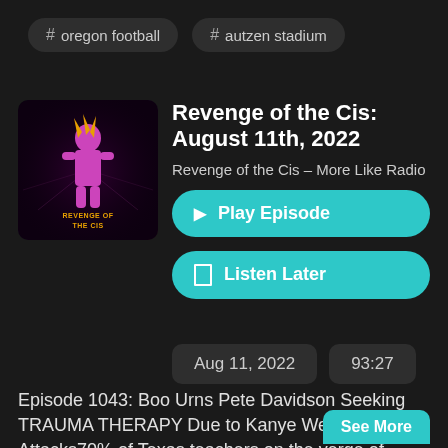# oregon football
# autzen stadium
[Figure (illustration): Revenge of the Cis podcast artwork: dark background with a stylized figure and orange/pink retro text reading 'REVENGE OF THE CIS']
Revenge of the Cis: August 11th, 2022
Revenge of the Cis – More Like Radio
▶ Play Episode
☐ Listen Later
Aug 11, 2022
93:27
Episode 1043: Boo Urns Pete Davidson Seeking TRAUMA THERAPY Due to Kanye West's Attacks70% of Texas teachers on the verge of quitting, survey showsTFATK talk about alex jones
See More